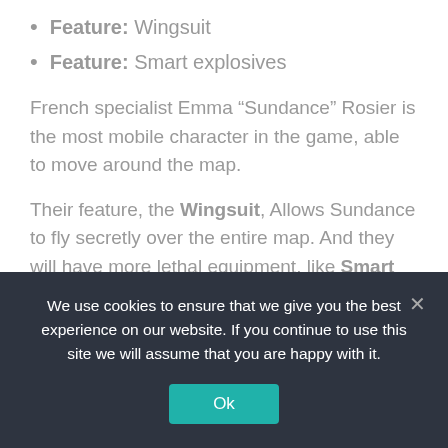Feature: Wingsuit
Feature: Smart explosives
French specialist Emma “Sundance” Rosier is the most mobile character in the game, able to move around the map.
Their feature, the Wingsuit, Allows Sundance to fly secretly over the entire map. And they will have more lethal equipment, like Smart explosives The feature allows them to switch using anti-armor, EMP and scatter grenades.
Webster Mackay
We use cookies to ensure that we give you the best experience on our website. If you continue to use this site we will assume that you are happy with it.